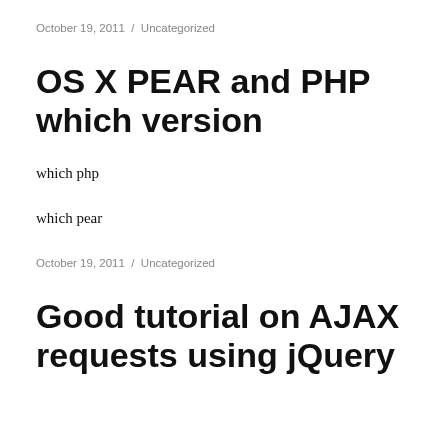October 19, 2011  /  Uncategorized
OS X PEAR and PHP which version
which php
which pear
October 19, 2011  /  Uncategorized
Good tutorial on AJAX requests using jQuery